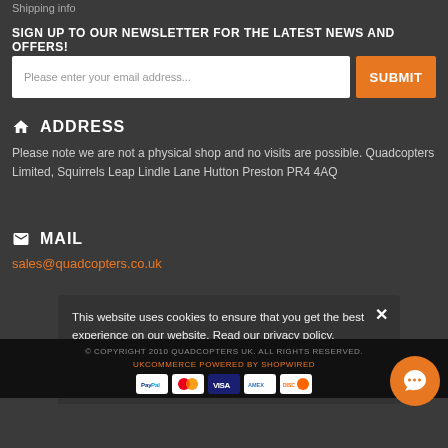Shipping info
SIGN UP TO OUR NEWSLETTER FOR THE LATEST NEWS AND OFFERS!
Please enter your email address...
ADDRESS
Please note we are not a physical shop and no visits are possible. Quadcopters Limited, Squirrels Leap Lindle Lane Hutton Preston PR4 4AQ
MAIL
sales@quadcopters.co.uk
This website uses cookies to ensure that you get the best experience on our website. Read our privacy policy.
I accept
© COPYRIGHT 2010 QUADCOPTERS UK. ALL RIGHTS RESERVED.
UKCOMMERCE POWERED BY SHOPWIRED